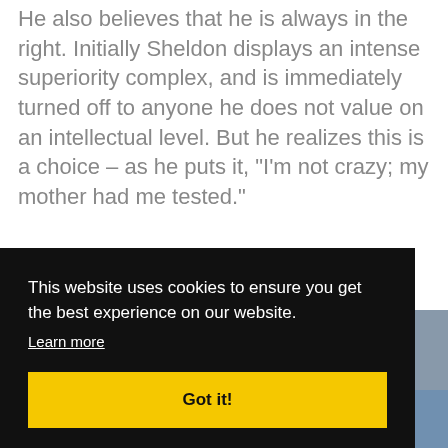He also believes that he is always in the right. Initially Sheldon displays an intense superiority complex, and is immediately turned off to anyone he does not value on an intellectual level. But he realizes this is a choice – as he puts it, "I'm not crazy; my mother had me tested."
This website uses cookies to ensure you get the best experience on our website.
Learn more
Got it!
[Figure (photo): Partial photo of a person's face visible at bottom of page]